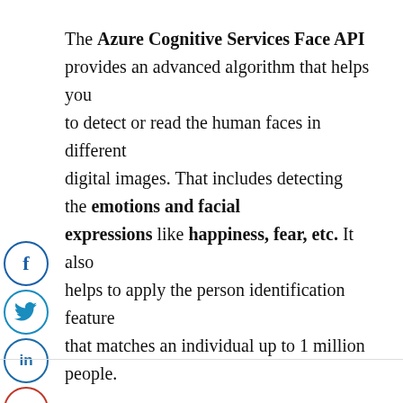The Azure Cognitive Services Face API provides an advanced algorithm that helps you to detect or read the human faces in different digital images. That includes detecting the emotions and facial expressions like happiness, fear, etc. It also helps to apply the person identification feature that matches an individual up to 1 million people.
[Figure (other): Social sharing icons: Facebook (blue circle with f), Twitter (blue circle with bird), LinkedIn (blue circle with 'in'), Pinterest (red circle with P), and a grey back arrow button]